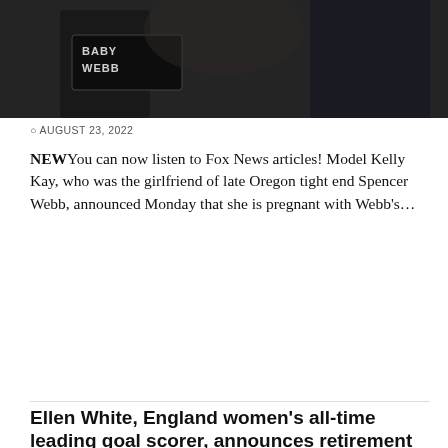[Figure (photo): Photo of two people holding a sign that reads BABY WEBB]
© AUGUST 23, 2022
NEWYou can now listen to Fox News articles! Model Kelly Kay, who was the girlfriend of late Oregon tight end Spencer Webb, announced Monday that she is pregnant with Webb's…
READ MORE
Ellen White, England women's all-time leading goal scorer, announces retirement
[Figure (photo): Photo of Ellen White in England white jersey celebrating, raising her hand and smiling]